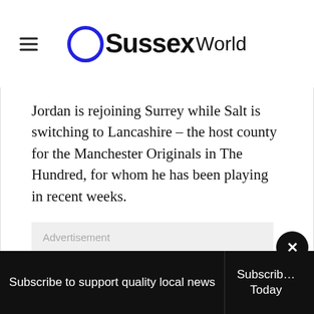Sussex World
Jordan is rejoining Surrey while Salt is switching to Lancashire – the host county for the Manchester Originals in The Hundred, for whom he has been playing in recent weeks.
Advertisement
Subscribe to support quality local news   Subscribe Today